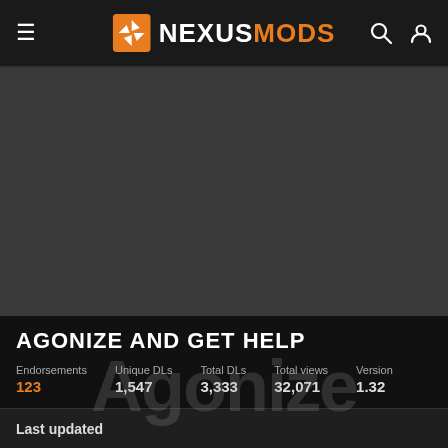NexusMods navigation bar with logo, hamburger menu, search and user icons
[Figure (photo): Dark grey image/banner area for the mod, no visible content]
AGONIZE AND GET HELP
| Endorsements | Unique DLs | Total DLs | Total views | Version |
| --- | --- | --- | --- | --- |
| 123 | 1,547 | 3,333 | 32,071 | 1.32 |
Last updated